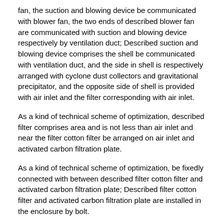fan, the suction and blowing device be communicated with blower fan, the two ends of described blower fan are communicated with suction and blowing device respectively by ventilation duct; Described suction and blowing device comprises the shell be communicated with ventilation duct, and the side in shell is respectively arranged with cyclone dust collectors and gravitational precipitator, and the opposite side of shell is provided with air inlet and the filter corresponding with air inlet.
As a kind of technical scheme of optimization, described filter comprises area and is not less than air inlet and near the filter cotton filter be arranged on air inlet and activated carbon filtration plate.
As a kind of technical scheme of optimization, be fixedly connected with between described filter cotton filter and activated carbon filtration plate; Described filter cotton filter and activated carbon filtration plate are installed in the enclosure by bolt.
As a kind of technical scheme of optimization, in described shell, a upper lateral part is provided with